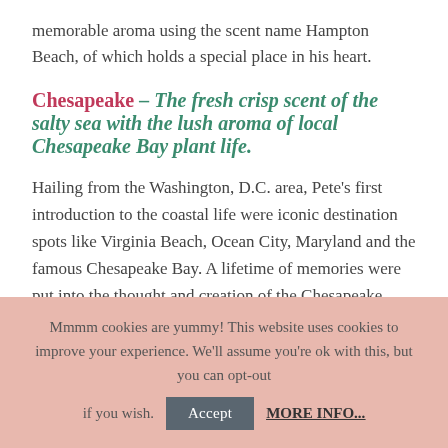memorable aroma using the scent name Hampton Beach, of which holds a special place in his heart.
Chesapeake – The fresh crisp scent of the salty sea with the lush aroma of local Chesapeake Bay plant life.
Hailing from the Washington, D.C. area, Pete's first introduction to the coastal life were iconic destination spots like Virginia Beach, Ocean City, Maryland and the famous Chesapeake Bay. A lifetime of memories were put into the thought and creation of the Chesapeake scent.
Whether relaxing on the shore, or taking a boat ride out
Mmmm cookies are yummy! This website uses cookies to improve your experience. We'll assume you're ok with this, but you can opt-out if you wish. Accept MORE INFO...